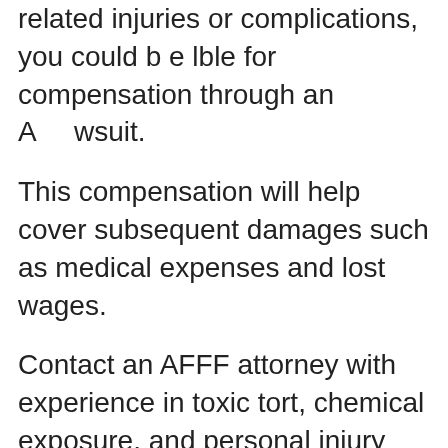related injuries or complications, you could be eligible for compensation through an AFFF lawsuit.
This compensation will help cover subsequent damages such as medical expenses and lost wages.
Contact an AFFF attorney with experience in toxic tort, chemical exposure, and personal injury lawsuits to discuss your potential case.
He or she will work diligently through the civil litigation process to prove liability and